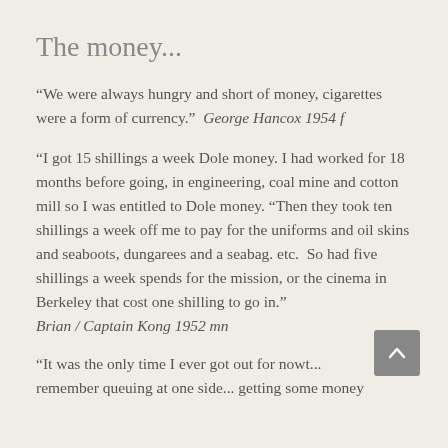The money...
“We were always hungry and short of money, cigarettes were a form of currency.”  George Hancox 1954 f
“I got 15 shillings a week Dole money. I had worked for 18 months before going, in engineering, coal mine and cotton mill so I was entitled to Dole money. “Then they took ten shillings a week off me to pay for the uniforms and oil skins and seaboots, dungarees and a seabag. etc.  So had five shillings a week spends for the mission, or the cinema in Berkeley that cost one shilling to go in.”
Brian / Captain Kong 1952 mn
“It was the only time I ever got out for nowt... remember queuing at one side... getting some money